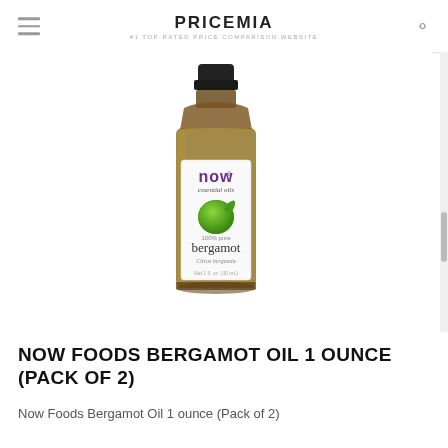PRICEMIA — #1 TOP-RATED PRICE COMPARISON WEBSITE
[Figure (photo): NOW Foods Bergamot Essential Oil product bottle — amber glass bottle with black cap, white label showing 'now essential oils', green bergamot fruit image, '100% pure bergamot', 'Citrus bergamia', 'Net 1 fl. oz. (30 mL)']
NOW FOODS BERGAMOT OIL 1 OUNCE (PACK OF 2)
Now Foods Bergamot Oil 1 ounce (Pack of 2)